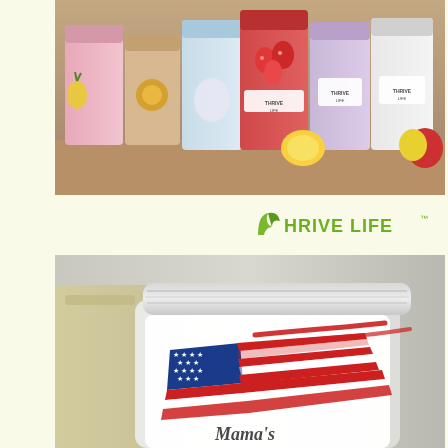[Figure (photo): Multiple Thrive Life branded cans/containers with fruits and food items displayed on a wooden surface. Various freeze-dried food products including strawberries, mango, and other fruits visible alongside the pastel-colored cans.]
[Figure (logo): Thrive Life logo in green text with a leaf-like symbol replacing the T]
[Figure (photo): Close-up photo of a white Thrive Life container/canister with an American flag design (painted/brushstroke style in red, white, and blue) on the front label. The container has a clear lid. A partial view of what appears to be a blender cup is visible in the background.]